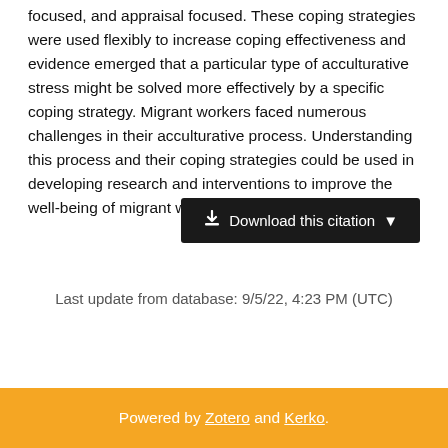focused, and appraisal focused. These coping strategies were used flexibly to increase coping effectiveness and evidence emerged that a particular type of acculturative stress might be solved more effectively by a specific coping strategy. Migrant workers faced numerous challenges in their acculturative process. Understanding this process and their coping strategies could be used in developing research and interventions to improve the well-being of migrant workers.
⬇ Download this citation ▼
Last update from database: 9/5/22, 4:23 PM (UTC)
Powered by Zotero and Kerko.